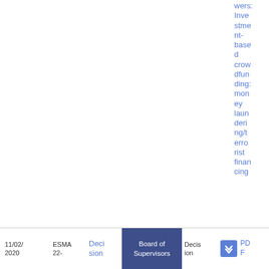wers: Investment-based crowdfunding: money laundering/terrorist financing
| Date | Reference | Type | Body | Type2 | Icon | Format |
| --- | --- | --- | --- | --- | --- | --- |
| 11/02/2020 | ESMA 22- | Decision | Board of Supervisors | Decision |  | PDF |